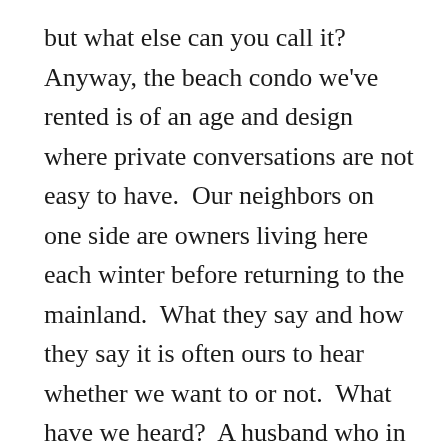but what else can you call it?  Anyway, the beach condo we've rented is of an age and design where private conversations are not easy to have.  Our neighbors on one side are owners living here each winter before returning to the mainland.  What they say and how they say it is often ours to hear whether we want to or not.  What have we heard?  A husband who in public is a loud hale fellow well met.  In private he's loudly, abusively mean spirited toward his wife, if he says anything at all.  Normal